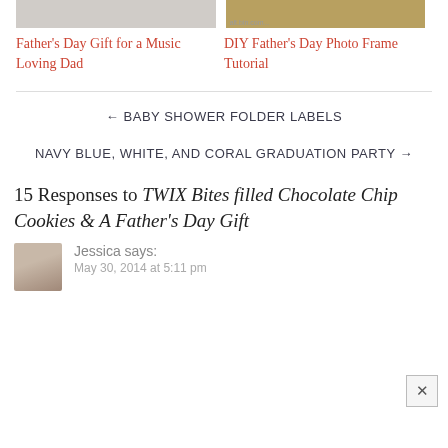[Figure (photo): Partial image strip at top left, grayscale/light colored]
[Figure (photo): Partial image strip at top right, brownish/wooden tones with url watermark]
Father's Day Gift for a Music Loving Dad
DIY Father's Day Photo Frame Tutorial
← BABY SHOWER FOLDER LABELS
NAVY BLUE, WHITE, AND CORAL GRADUATION PARTY →
15 Responses to TWIX Bites filled Chocolate Chip Cookies & A Father's Day Gift
Jessica says:
May 30, 2014 at 5:11 pm